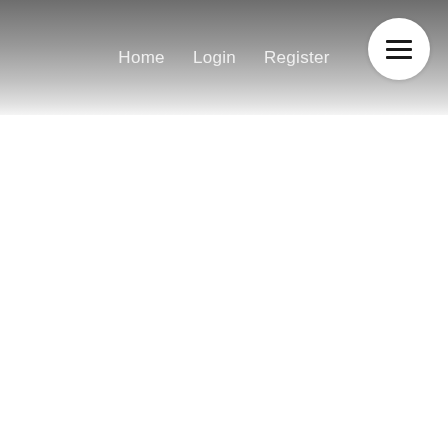Home  Login  Register
[Figure (infographic): Hamburger menu button (three horizontal lines) inside a white circle, positioned in the top-right corner of a gradient header bar]